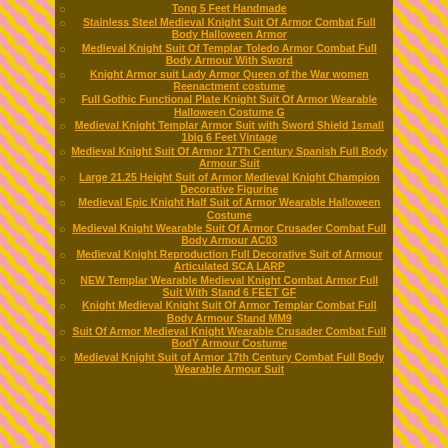Stainless Steel Medieval Knight Suit Of Armor Combat Full Body Halloween Armor
Medieval Knight Suit Of Templar Toledo Armor Combat Full Body Armour With Sword
Knight Armor suit Lady Armor Queen of the War women Reenactment costume
Full Gothic Functional Plate Knight Suit Of Armor Wearable Halloween Costume G
Medieval Knight Templar Armor Suit with Sword Shield 1small 1big 6 Feet Vintage
Medieval Knight Suit Of Armor 17Th Century Spanish Full Body Armour Suit
Large 21.25 Height Suit of Armor Medieval Knight Champion Decorative Figurine
Medieval Epic Knight Half Suit of Armor Wearable Halloween Costume
Medieval Knight Wearable Suit Of Armor Crusader Combat Full Body Armour AC03
Medieval Knight Reproduction Full Decorative Suit of Armour Articulated SCA LARP
NEW Templar Wearable Medieval Knight Combat Armor Full Suit With Stand 6 FEET GF
Knight Medieval Knight Suit Of Armor Templar Combat Full Body Armour Stand MM9
Suit Of Armor Medieval Knight Wearable Crusader Combat Full BodY Armour Costume
Medieval Knight Suit of Armor 17th Century Combat Full Body Wearable Armour Suit